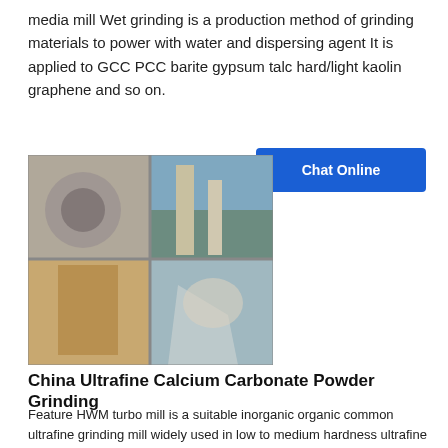media mill Wet grinding is a production method of grinding materials to power with water and dispersing agent It is applied to GCC PCC barite gypsum talc hard/light kaolin graphene and so on.
[Figure (photo): Four-panel photo collage showing industrial grinding mill equipment — machinery components, large cylindrical mills at an outdoor site, a storage tank, and workers near industrial equipment.]
China Ultrafine Calcium Carbonate Powder Grinding
Feature HWM turbo mill is a suitable inorganic organic common ultrafine grinding mill widely used in low to medium hardness ultrafine material chemicals dyes plastics non metallic minerals pharmaceuticals feed food and other industries crushing Almost all heat sensitive materials for polyvinyl alcohol PVC PE and other fibrous materials can be ultra fine